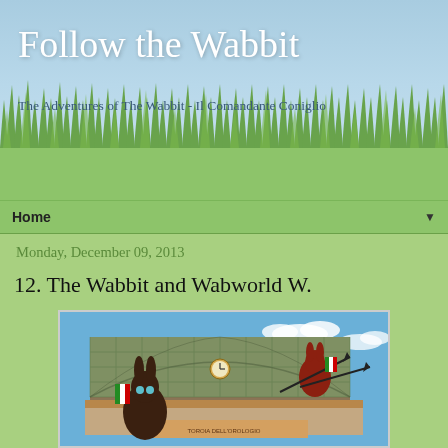Follow the Wabbit
The Adventures of The Wabbit - Il Comandante Coniglio
Home
Monday, December 09, 2013
12. The Wabbit and Wabworld W.
[Figure (photo): Photograph of a large glass and iron train station building (appears to be Torino Porta Nuova) with cartoon wabbit characters in the foreground holding Italian flags, against a blue sky with clouds]